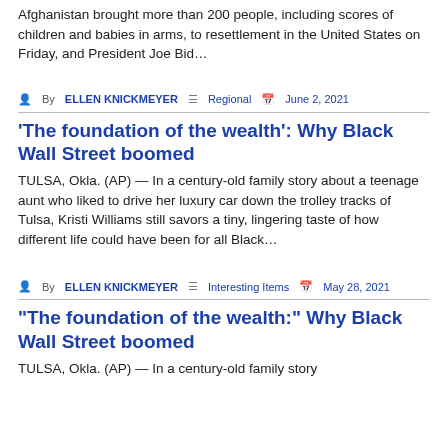Afghanistan brought more than 200 people, including scores of children and babies in arms, to resettlement in the United States on Friday, and President Joe Bid…
By ELLEN KNICKMEYER  Regional  June 2, 2021
'The foundation of the wealth': Why Black Wall Street boomed
TULSA, Okla. (AP) — In a century-old family story about a teenage aunt who liked to drive her luxury car down the trolley tracks of Tulsa, Kristi Williams still savors a tiny, lingering taste of how different life could have been for all Black…
By ELLEN KNICKMEYER  Interesting Items  May 28, 2021
"The foundation of the wealth:" Why Black Wall Street boomed
TULSA, Okla. (AP) — In a century-old family story